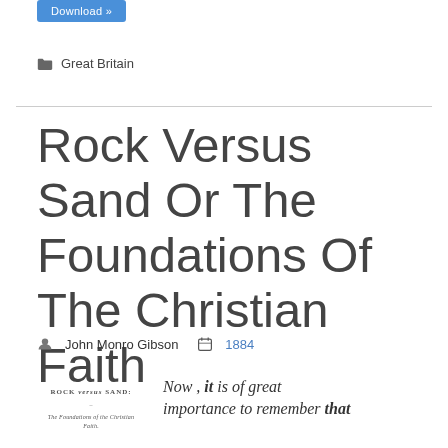[Figure (screenshot): Blue Download button at top]
Great Britain
Rock Versus Sand Or The Foundations Of The Christian Faith
John Monro Gibson  1884
[Figure (photo): Small book cover image showing 'ROCK versus SAND: The Foundations of the Christian Faith']
Now , it is of great importance to remember that